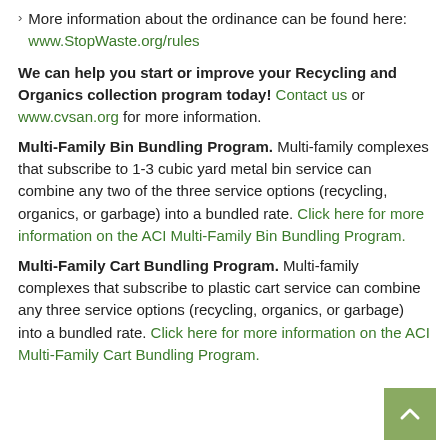More information about the ordinance can be found here: www.StopWaste.org/rules
We can help you start or improve your Recycling and Organics collection program today! Contact us or www.cvsan.org for more information.
Multi-Family Bin Bundling Program. Multi-family complexes that subscribe to 1-3 cubic yard metal bin service can combine any two of the three service options (recycling, organics, or garbage) into a bundled rate. Click here for more information on the ACI Multi-Family Bin Bundling Program.
Multi-Family Cart Bundling Program. Multi-family complexes that subscribe to plastic cart service can combine any three service options (recycling, organics, or garbage) into a bundled rate. Click here for more information on the ACI Multi-Family Cart Bundling Program.